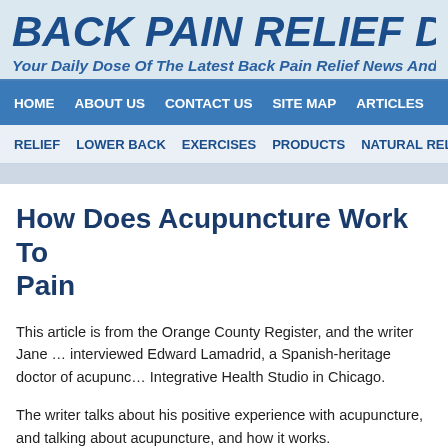BACK PAIN RELIEF DA…
Your Daily Dose Of The Latest Back Pain Relief News And Info…
HOME | ABOUT US | CONTACT US | SITE MAP | ARTICLES
RELIEF | LOWER BACK | EXERCISES | PRODUCTS | NATURAL RELIEF | T…
How Does Acupuncture Work To Pain
This article is from the Orange County Register, and the writer Jane … interviewed Edward Lamadrid, a Spanish-heritage doctor of acupunc… Integrative Health Studio in Chicago.
The writer talks about his positive experience with acupuncture, and talking about acupuncture, and how it works.